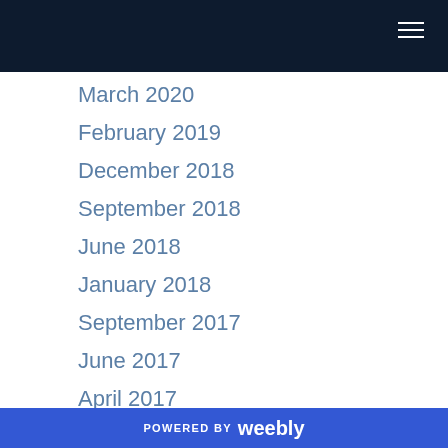March 2020
February 2019
December 2018
September 2018
June 2018
January 2018
September 2017
June 2017
April 2017
February 2017
January 2017
October 2016
POWERED BY weebly